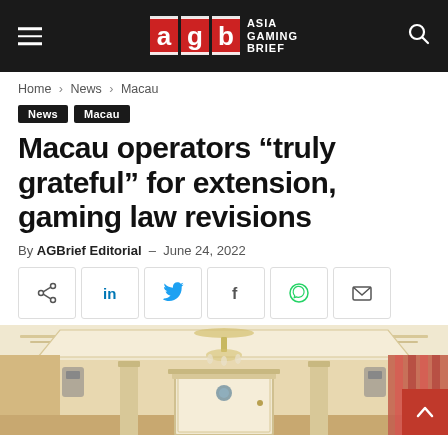Asia Gaming Brief
Home › News › Macau
News  Macau
Macau operators “truly grateful” for extension, gaming law revisions
By AGBrief Editorial - June 24, 2022
[Figure (other): Social share buttons: share, LinkedIn, Twitter, Facebook, WhatsApp, Email]
[Figure (photo): Interior of a Macau casino room showing chandelier, ornate ceiling, columns, and curtains]